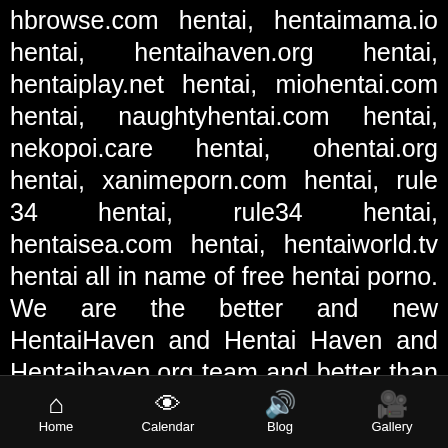hbrowse.com hentai, hentaimama.io hentai, hentaihaven.org hentai, hentaiplay.net hentai, miohentai.com hentai, naughtyhentai.com hentai, nekopoi.care hentai, ohentai.org hentai, xanimeporn.com hentai, rule 34 hentai, rule34 hentai, hentaisea.com hentai, hentaiworld.tv hentai all in name of free hentai porno. We are the better and new HentaiHaven and Hentai Haven and Hentaihaven.org team and better than hentaihaven.xxx, hentaihaven.red, hentaihaven.vip and all other copied clones out there. We are your new goto website for hentai porn and anime hentai. You must check all our anime hentai videos to make sure you are gonna signup or subscribe to our website for future and best updates on free hentai. Watch all the best uncensored dubbed hentai videos here in hentai hd qualities. No matter what your device is, you can check out
Home | Calendar | Blog | Gallery